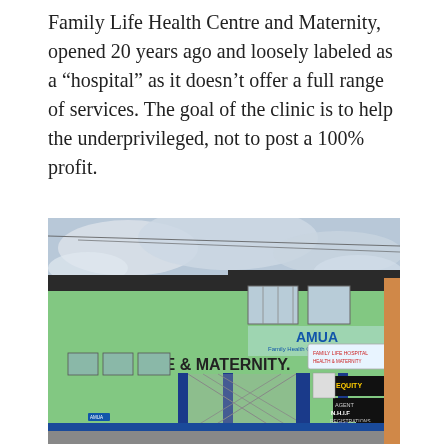Family Life Health Centre and Maternity, opened 20 years ago and loosely labeled as a “hospital” as it doesn’t offer a full range of services. The goal of the clinic is to help the underprivileged, not to post a 100% profit.
[Figure (photo): Street-level photograph of the Amua Family Life Health Centre and Maternity building — a two-storey light-green painted structure with blue accents, metal security gates, and signage reading 'AMUA Family Health Clinics', 'RE & MATERNITY.', 'EQUITY AGENT', 'N.H.I.F REGISTRATIONS HERE', and 'EQUITY AGENT'. Street and overcast sky visible.]